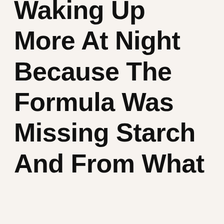Waking Up More At Night Because The Formula Was Missing Starch And From What